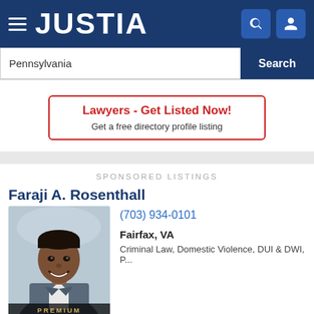JUSTIA
Pennsylvania
Search
Lawyers - Get Listed Now!
Get a free directory profile listing
SPONSORED LISTINGS
Faraji A. Rosenthall
[Figure (photo): Professional headshot of Faraji A. Rosenthall, a lawyer wearing a suit, smiling. Badge reads PREMIUM.]
(703) 934-0101
Fairfax, VA
Criminal Law, Domestic Violence, DUI & DWI, P...
Website
Call
Email